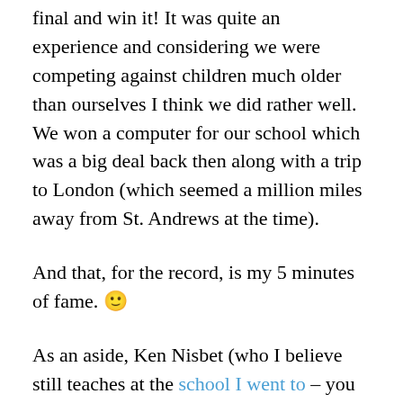final and win it! It was quite an experience and considering we were competing against children much older than ourselves I think we did rather well. We won a computer for our school which was a big deal back then along with a trip to London (which seemed a million miles away from St. Andrews at the time).
And that, for the record, is my 5 minutes of fame. 🙂
As an aside, Ken Nisbet (who I believe still teaches at the school I went to – you can see him in that photo of the team above) was and no doubt still is quite a character. He had a real enthusiasm for maths and managed to make learning about triangles, calculus and all sorts of other aspects of maths actually seem interesting and entertaining. I really looked forward to his classes. The fact that I've managed to